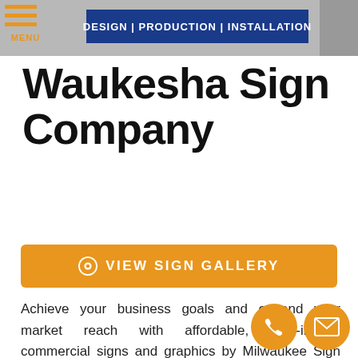[Figure (screenshot): Website header with menu icon, DESIGN | PRODUCTION | INSTALLATION banner, and building photo]
Waukesha Sign Company
[Figure (other): Orange button with eye icon and text VIEW SIGN GALLERY]
Achieve your business goals and expand your market reach with affordable, high-impact commercial signs and graphics by Milwaukee Sign Company, your local Milwaukee sign company!
[Figure (other): Orange phone icon circle button and orange email icon circle button]